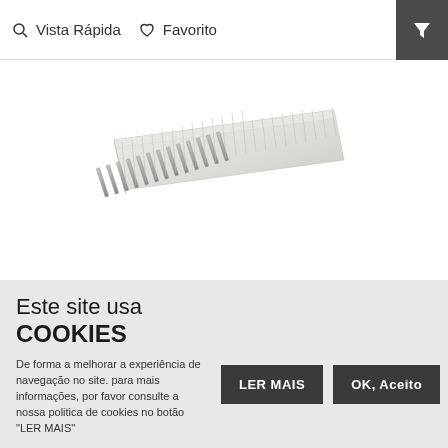Vista Rápida   Favorito
[Figure (photo): A white multi-pin electrical connector/header component photographed on a white background, angled view showing multiple metal pins in a plastic housing.]
Este site usa COOKIES
De forma a melhorar a experiência de navegação no site. para mais informações, por favor consulte a nossa politica de cookies no botão "LER MAIS"
LER MAIS
OK, Aceito
×